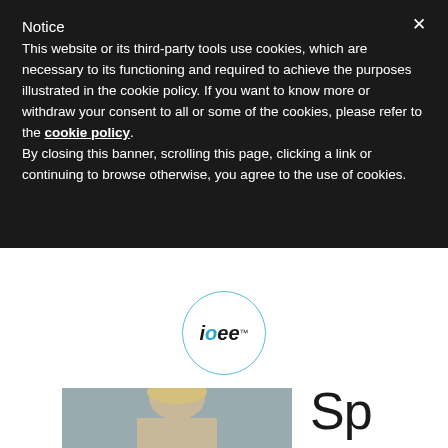Notice
This website or its third-party tools use cookies, which are necessary to its functioning and required to achieve the purposes illustrated in the cookie policy. If you want to know more or withdraw your consent to all or some of the cookies, please refer to the cookie policy. By closing this banner, scrolling this page, clicking a link or continuing to browse otherwise, you agree to the use of cookies.
[Figure (logo): IOEE logo — circular border with the text 'ioee' in a stylized font inside, with a blue 'o' character]
IOEE
[Figure (photo): Partial photo of a person with blonde hair against a grey background, cropped at bottom of page]
Sp